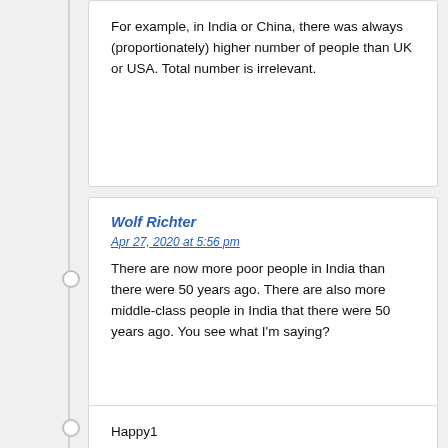For example, in India or China, there was always (proportionately) higher number of people than UK or USA. Total number is irrelevant.
Wolf Richter
Apr 27, 2020 at 5:56 pm
There are now more poor people in India than there were 50 years ago. There are also more middle-class people in India that there were 50 years ago. You see what I'm saying?
Happy1